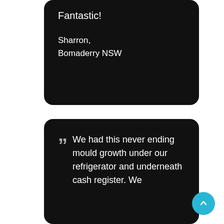Fantastic!

Sharron,
Bomaderry NSW
" We had this never ending mould growth under our refrigerator and underneath cash register. We